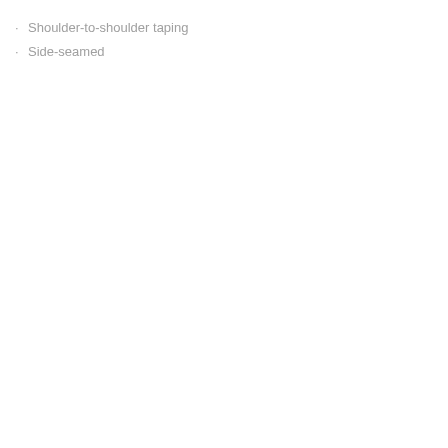Shoulder-to-shoulder taping
Side-seamed